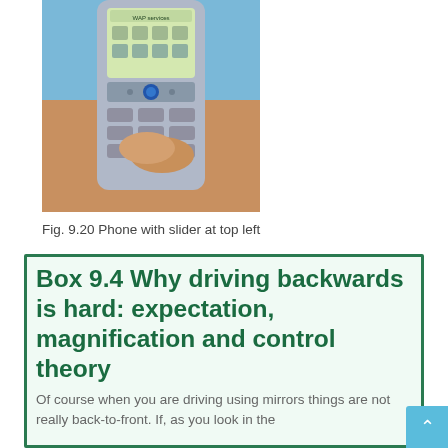[Figure (photo): A hand holding a Nokia-style mobile phone displaying WAP services menu on its screen, photo taken against a blue background]
Fig. 9.20 Phone with slider at top left
Box 9.4 Why driving backwards is hard: expectation, magnification and control theory
Of course when you are driving using mirrors things are not really back-to-front. If, as you look in the